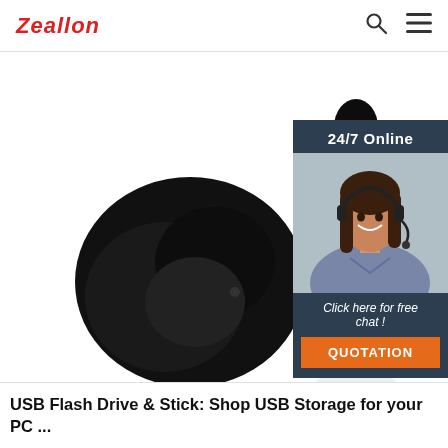Zeallon
[Figure (photo): Close-up product photo of black wireless earbuds/earphones on white background, with a dark vertical earbud shape on the right side showing a teal LED indicator]
[Figure (infographic): 24/7 Online chat widget with dark navy background, showing a smiling female customer service representative wearing a headset, with text 'Click here for free chat!' and an orange QUOTATION button]
USB Flash Drive & Stick: Shop USB Storage for your PC ...